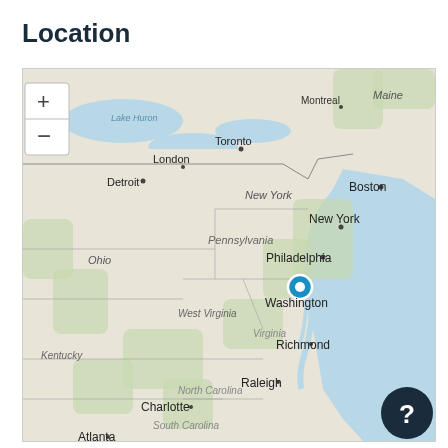Location
[Figure (map): Interactive map showing the northeastern United States and southeastern Canada. A blue location pin is placed on Washington D.C. Visible cities include Detroit, London, Toronto, Montreal, Boston, New York, Philadelphia, Washington, Richmond, Raleigh, Charlotte, Atlanta. States/regions labeled: Ohio, Pennsylvania, West Virginia, Virginia, Kentucky, North Carolina, South Carolina, Maine. The map shows the Atlantic coast and Great Lakes. Zoom controls (+/-) are visible in the top-left. A dark help button (?) is in the bottom-right corner.]